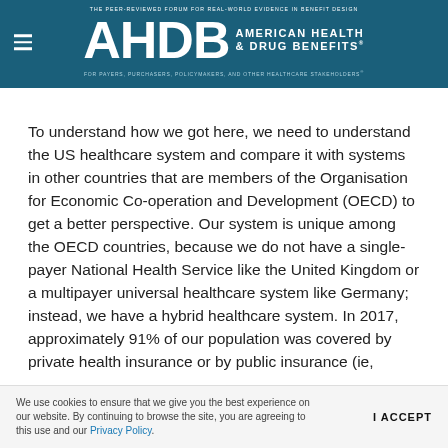THE PEER-REVIEWED FORUM FOR REAL-WORLD EVIDENCE IN BENEFIT DESIGN | AHDB AMERICAN HEALTH & DRUG BENEFITS | FOR PAYERS, PURCHASERS, POLICYMAKERS, AND OTHER HEALTHCARE STAKEHOLDERS
To understand how we got here, we need to understand the US healthcare system and compare it with systems in other countries that are members of the Organisation for Economic Co-operation and Development (OECD) to get a better perspective. Our system is unique among the OECD countries, because we do not have a single-payer National Health Service like the United Kingdom or a multipayer universal healthcare system like Germany; instead, we have a hybrid healthcare system. In 2017, approximately 91% of our population was covered by private health insurance or by public insurance (ie,
We use cookies to ensure that we give you the best experience on our website. By continuing to browse the site, you are agreeing to this use and our Privacy Policy.
I ACCEPT